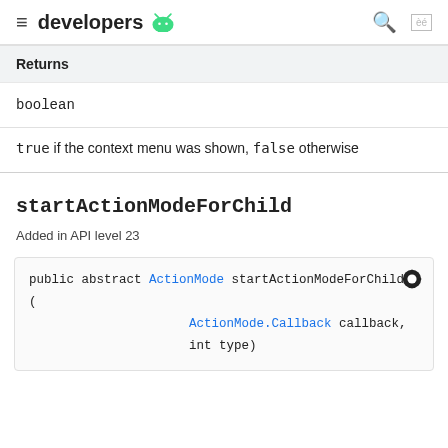developers
| Returns |
| --- |
| boolean |
true if the context menu was shown, false otherwise
startActionModeForChild
Added in API level 23
public abstract ActionMode startActionModeForChild (ActionMode.Callback callback, int type)